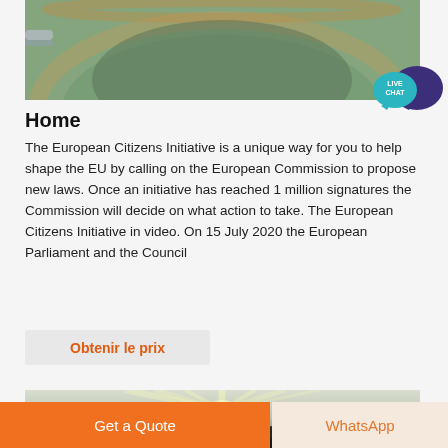[Figure (photo): Aerial or close-up view of a large circular water reservoir or tank with greenish water]
[Figure (infographic): Live Chat speech bubble icon in teal and dark purple]
Home
The European Citizens Initiative is a unique way for you to help shape the EU by calling on the European Commission to propose new laws. Once an initiative has reached 1 million signatures the Commission will decide on what action to take. The European Citizens Initiative in video. On 15 July 2020 the European Parliament and the Council
Obtenir le prix
[Figure (photo): Landscape photo with mountains and bright sunlight rays from behind hills]
Get a Quote
WhatsApp